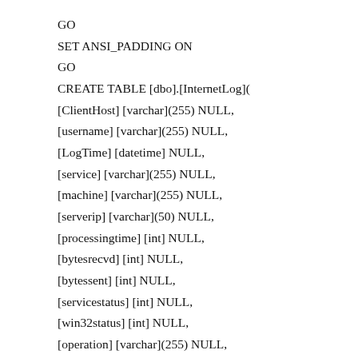GO
SET ANSI_PADDING ON
GO
CREATE TABLE [dbo].[InternetLog](
[ClientHost] [varchar](255) NULL,
[username] [varchar](255) NULL,
[LogTime] [datetime] NULL,
[service] [varchar](255) NULL,
[machine] [varchar](255) NULL,
[serverip] [varchar](50) NULL,
[processingtime] [int] NULL,
[bytesrecvd] [int] NULL,
[bytessent] [int] NULL,
[servicestatus] [int] NULL,
[win32status] [int] NULL,
[operation] [varchar](255) NULL,